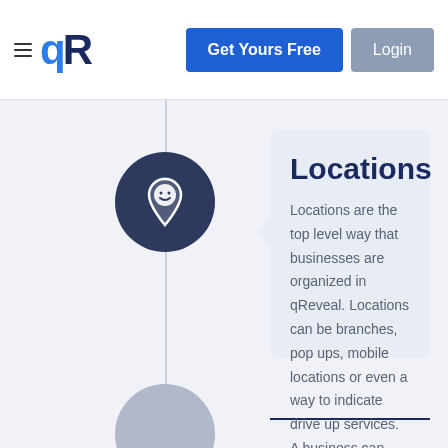≡ qR | Get Yours Free | Login
[Figure (logo): qReveal logo with hamburger menu icon, stylized 'qR' text in dark navy with blue dot accent]
Locations
Locations are the top level way that businesses are organized in qReveal. Locations can be branches, pop ups, mobile locations or even a way to indicate drive up services. A business can have one or more locations.